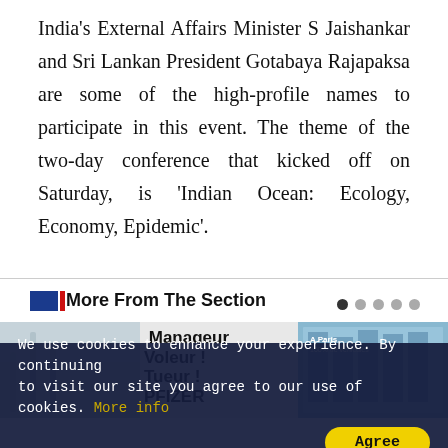India's External Affairs Minister S Jaishankar and Sri Lankan President Gotabaya Rajapaksa are some of the high-profile names to participate in this event. The theme of the two-day conference that kicked off on Saturday, is 'Indian Ocean: Ecology, Economy, Epidemic'.
More From The Section
[Figure (photo): Protest sign reading 'Manageur Voleur! Tueur! PFIZER' on left panel, and modern glass office building with text 'A Paris 100% de véhicules' on right panel]
We use cookies to enhance your experience. By continuing to visit our site you agree to our use of cookies. More info